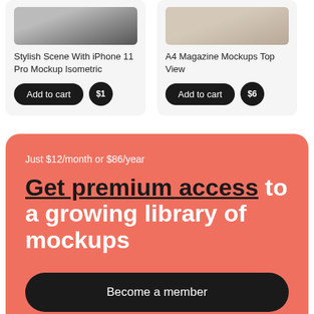[Figure (screenshot): Product card: Stylish Scene With iPhone 11 Pro Mockup Isometric with Add to cart button and $1 price badge]
[Figure (screenshot): Product card: A4 Magazine Mockups Top View with Add to cart button and $6 price badge]
Just $12/month or $86/year
Get premium access to a growing library of mockups
Become a member
We use cookies for better service.
ACCEPT